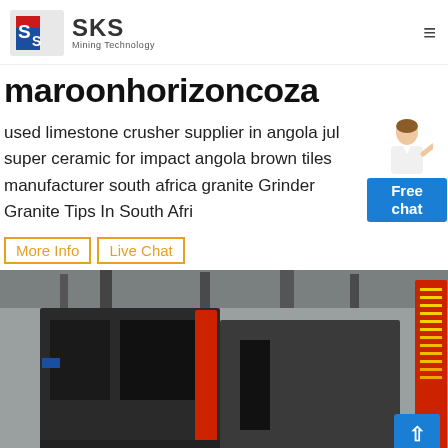SKS Mining Technology
maroonhorizoncoza
used limestone crusher supplier in angola jul super ceramic for impact angola brown tiles manufacturer south africa granite Grinder Granite Tips In South Afri
More Info
Live Chat
[Figure (photo): Industrial mining/crushing machine in a factory setting with red structural elements and machinery components, with a vertical LED sign on the right side.]